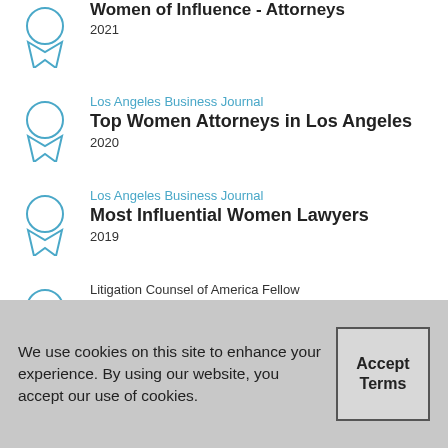Women of Influence - Attorneys 2021
Los Angeles Business Journal Top Women Attorneys in Los Angeles 2020
Los Angeles Business Journal Most Influential Women Lawyers 2019
Litigation Counsel of America Fellow Invitation-Only Trial Lawyer Honorary Society for Top 1/2 of 1% of Lawyers 2020
We use cookies on this site to enhance your experience. By using our website, you accept our use of cookies.